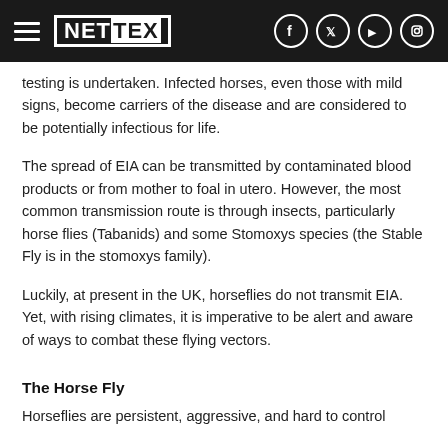NETTEX
testing is undertaken. Infected horses, even those with mild signs, become carriers of the disease and are considered to be potentially infectious for life.
The spread of EIA can be transmitted by contaminated blood products or from mother to foal in utero. However, the most common transmission route is through insects, particularly horse flies (Tabanids) and some Stomoxys species (the Stable Fly is in the stomoxys family).
Luckily, at present in the UK, horseflies do not transmit EIA. Yet, with rising climates, it is imperative to be alert and aware of ways to combat these flying vectors.
The Horse Fly
Horseflies are persistent, aggressive, and hard to control